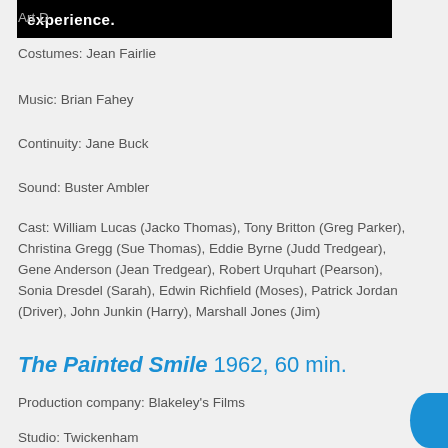Art D[irector: …] experience.
Costumes: Jean Fairlie
Music: Brian Fahey
Continuity: Jane Buck
Sound: Buster Ambler
Cast: William Lucas (Jacko Thomas), Tony Britton (Greg Parker), Christina Gregg (Sue Thomas), Eddie Byrne (Judd Tredgear), Gene Anderson (Jean Tredgear), Robert Urquhart (Pearson), Sonia Dresdel (Sarah), Edwin Richfield (Moses), Patrick Jordan (Driver), John Junkin (Harry), Marshall Jones (Jim)
The Painted Smile 1962, 60 min.
Production company: Blakeley's Films
Studio: Twickenham